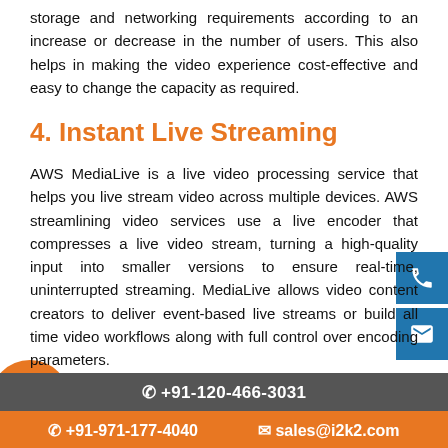storage and networking requirements according to an increase or decrease in the number of users. This also helps in making the video experience cost-effective and easy to change the capacity as required.
4. Instant Live Streaming
AWS MediaLive is a live video processing service that helps you live stream video across multiple devices. AWS streamlining video services use a live encoder that compresses a live video stream, turning a high-quality input into smaller versions to ensure real-time, uninterrupted streaming. MediaLive allows video content creators to deliver event-based live streams or build all time video workflows along with full control over encoding parameters.
✆ +91-120-466-3031  ✆ +91-971-177-4040  ✉ sales@i2k2.com